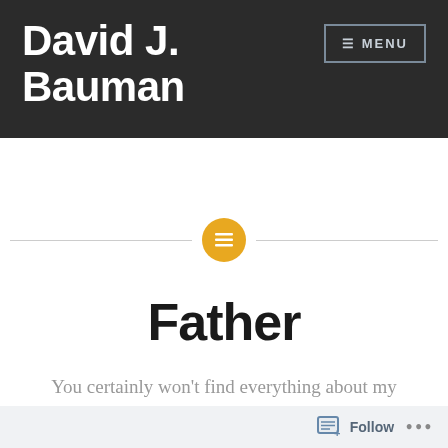David J. Bauman
[Figure (other): Navigation menu button with three horizontal lines icon and text MENU, inside a bordered rectangle on dark header]
[Figure (other): Horizontal divider line with a gold/amber circle in the center containing a white lined/text list icon]
Father
You certainly won't find everything about my
[Figure (other): Follow bar at the bottom with a follow button icon and text Follow, and three dots menu]